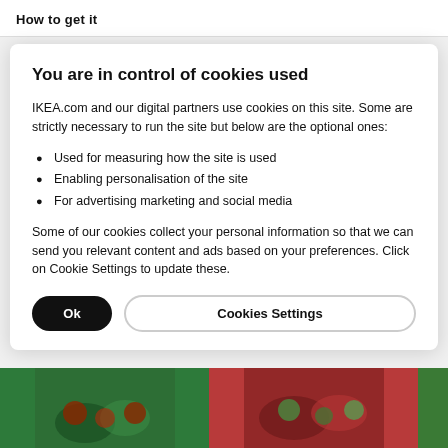How to get it
You are in control of cookies used
IKEA.com and our digital partners use cookies on this site. Some are strictly necessary to run the site but below are the optional ones:
Used for measuring how the site is used
Enabling personalisation of the site
For advertising marketing and social media
Some of our cookies collect your personal information so that we can send you relevant content and ads based on your preferences. Click on Cookie Settings to update these.
[Figure (screenshot): Two buttons: a black rounded 'Ok' button and a 'Cookies Settings' button with light border]
[Figure (photo): Bottom strip showing food photos - green and red food imagery]